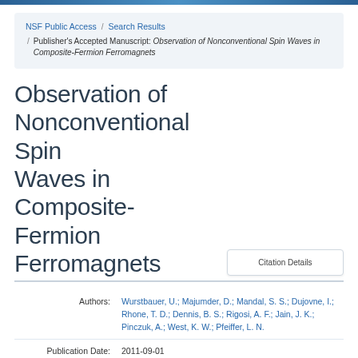NSF Public Access / Search Results / Publisher's Accepted Manuscript: Observation of Nonconventional Spin Waves in Composite-Fermion Ferromagnets
Observation of Nonconventional Spin Waves in Composite-Fermion Ferromagnets
Citation Details
| Field | Value |
| --- | --- |
| Authors: | Wurstbauer, U.; Majumder, D.; Mandal, S. S.; Dujovne, I.; Rhone, T. D.; Dennis, B. S.; Rigosi, A. F.; Jain, J. K.; Pinczuk, A.; West, K. W.; Pfeiffer, L. N. |
| Publication Date: | 2011-09-01 |